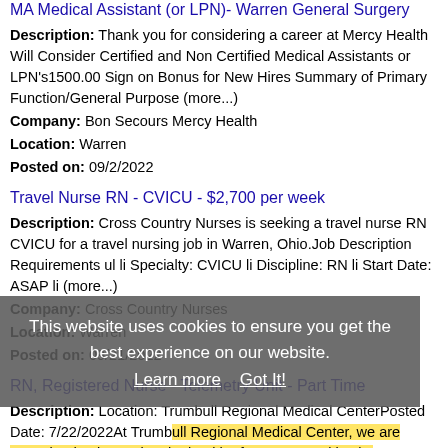MA Medical Assistant (or LPN)- Warren General Surgery
Description: Thank you for considering a career at Mercy Health Will Consider Certified and Non Certified Medical Assistants or LPN's1500.00 Sign on Bonus for New Hires Summary of Primary Function/General Purpose (more...)
Company: Bon Secours Mercy Health
Location: Warren
Posted on: 09/2/2022
Travel Nurse RN - CVICU - $2,700 per week
Description: Cross Country Nurses is seeking a travel nurse RN CVICU for a travel nursing job in Warren, Ohio. Job Description Requirements ul li Specialty: CVICU li Discipline: RN li Start Date: ASAP li (more...)
Company: Cross Country Nurses
Location: Warren
Posted on: 09/21/2022
RN, Registered Nurse - Telemetry Unit - Part Time
Description: Location: Trumbull Regional Medical CenterPosted Date: 7/22/2022At Trumbull Regional Medical Center, we are committed to improving the health of our communities by delivering exceptional, personalized (more...)
Company: Steward Health Care
This website uses cookies to ensure you get the best experience on our website.
Learn more
Got It!